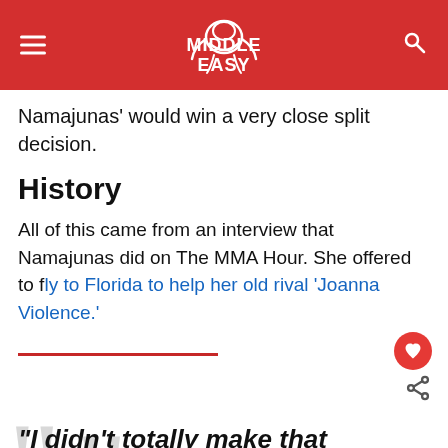Middle Easy
Namajunas' would win a very close split decision.
History
All of this came from an interview that Namajunas did on The MMA Hour. She offered to fly to Florida to help her old rival 'Joanna Violence.'
“I didn’t totally make that decision in my mind yet but I was thinking about it,” Namajunas